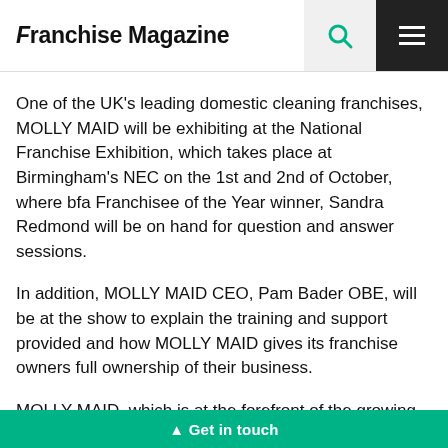Franchise Magazine
One of the UK's leading domestic cleaning franchises, MOLLY MAID will be exhibiting at the National Franchise Exhibition, which takes place at Birmingham's NEC on the 1st and 2nd of October, where bfa Franchisee of the Year winner, Sandra Redmond will be on hand for question and answer sessions.
In addition, MOLLY MAID CEO, Pam Bader OBE, will be at the show to explain the training and support provided and how MOLLY MAID gives its franchise owners full ownership of their business.
MOLLY MAID, which is at the forefront of the growing £3 billion domes… renowned for its unrivalled… opportunities
▲ Get in touch